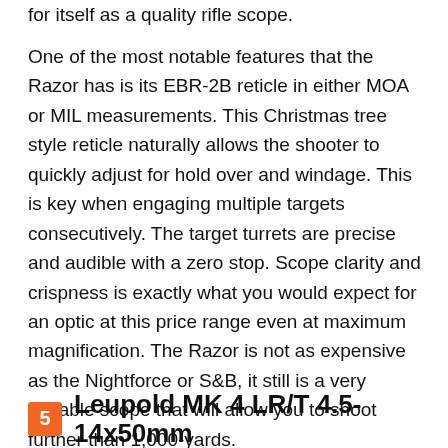for itself as a quality rifle scope.
One of the most notable features that the Razor has is its EBR-2B reticle in either MOA or MIL measurements. This Christmas tree style reticle naturally allows the shooter to quickly adjust for hold over and windage. This is key when engaging multiple targets consecutively. The target turrets are precise and audible with a zero stop. Scope clarity and crispness is exactly what you would expect for an optic at this price range even at maximum magnification. The Razor is not as expensive as the Nightforce or S&B, it still is a very capable scope that will allow you to shoot further than 1,000-yards.
5 Leupold MK 4 LR/T 4.5-14x50mm